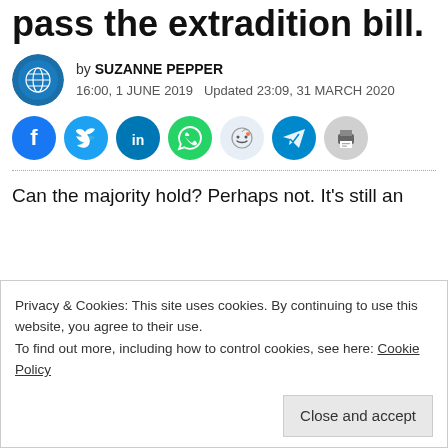pass the extradition bill.
by SUZANNE PEPPER
16:00, 1 JUNE 2019   Updated 23:09, 31 MARCH 2020
[Figure (infographic): Social media share buttons: Facebook (blue), Twitter (blue), LinkedIn (dark blue), WhatsApp (green), Reddit (light blue/grey), Telegram (blue), Print (grey)]
Can the majority hold? Perhaps not. It's still an
Privacy & Cookies: This site uses cookies. By continuing to use this website, you agree to their use.
To find out more, including how to control cookies, see here: Cookie Policy
Close and accept